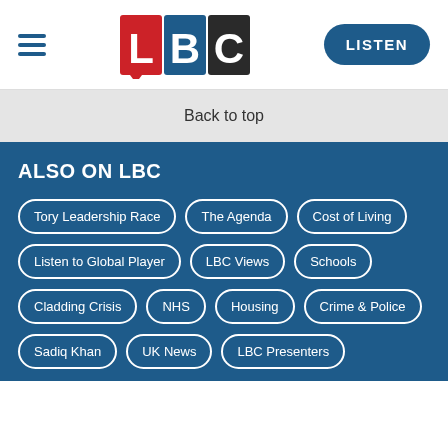LBC — LISTEN
Back to top
ALSO ON LBC
Tory Leadership Race
The Agenda
Cost of Living
Listen to Global Player
LBC Views
Schools
Cladding Crisis
NHS
Housing
Crime & Police
Sadiq Khan
UK News
LBC Presenters